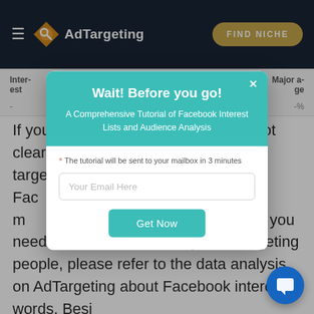AdTargeting — FIND NICHE
| Inter-est | Audien-ce | Gender ratio of the audience | Major a-ge |
| --- | --- | --- | --- |
| - |  |  | -% |
If you will not clear e '-' is target e of - on Fac men. The m unted for -%. If you need a more detailed analysis of targeting people, please refer to the data analysis on AdTargeting about Facebook interest words. Besi...
[Figure (screenshot): Modal popup with teal header: 'Wait! Before you go!' and subtitle 'A Comprehensive Tutorial of Facebook Interest Lists and Audience Analysis'. Contains email input field with placeholder 'Your Email Here', note '* The tutorial will be sent to your mailbox in 3 minutes', and a 'Get Now' teal button.]